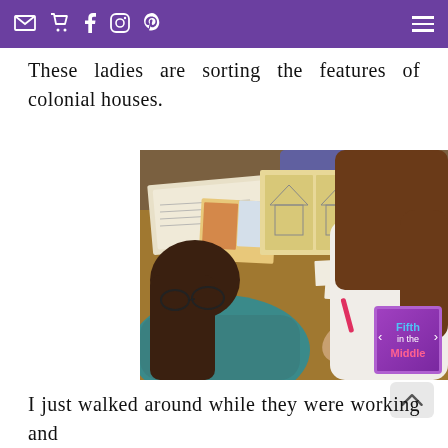Navigation bar with email, cart, facebook, instagram, pinterest icons and hamburger menu
These ladies are sorting the features of colonial houses.
[Figure (photo): Overhead view of two girls working at a school desk, sorting cards and writing in notebooks. A 'Fifth in the Middle' badge is visible in the bottom right corner of the image.]
I just walked around while they were working and